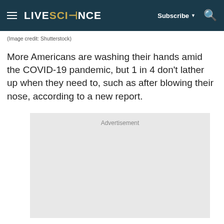LIVESCIENCE  Subscribe ▼  🔍
(Image credit: Shutterstock)
More Americans are washing their hands amid the COVID-19 pandemic, but 1 in 4 don't lather up when they need to, such as after blowing their nose, according to a new report.
[Figure (other): Advertisement placeholder box]